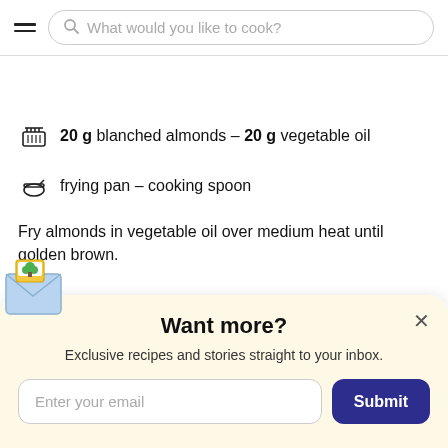What would you like to cook?
20 g blanched almonds – 20 g vegetable oil
frying pan – cooking spoon
Fry almonds in vegetable oil over medium heat until golden brown.
Want more?
Exclusive recipes and stories straight to your inbox.